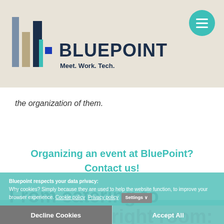[Figure (logo): BluePoint logo with colored bar chart bars and text 'BLUEPOINT Meet. Work. Tech.']
the organization of them.
Organizing an event at BluePoint? Contact us!
From catering to finding the right room: with BluePoint, your company event will be a success!
Bluepoint respects your data privacy:
Why cookies? Simply because they are used to help the website function, to improve your browser experience. Cookie policy  Privacy policy  Settings
Decline Cookies
Accept All